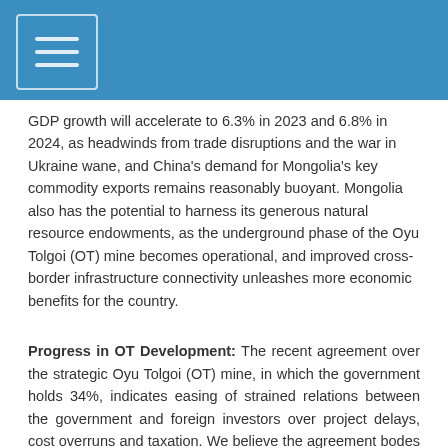GDP growth will accelerate to 6.3% in 2023 and 6.8% in 2024, as headwinds from trade disruptions and the war in Ukraine wane, and China's demand for Mongolia's key commodity exports remains reasonably buoyant. Mongolia also has the potential to harness its generous natural resource endowments, as the underground phase of the Oyu Tolgoi (OT) mine becomes operational, and improved cross-border infrastructure connectivity unleashes more economic benefits for the country.
Progress in OT Development: The recent agreement over the strategic Oyu Tolgoi (OT) mine, in which the government holds 34%, indicates easing of strained relations between the government and foreign investors over project delays, cost overruns and taxation. We believe the agreement bodes well for the continued development of the underground phase, with potential positive spill-overs to Mongolia's export receipts, fiscal accounts and foreign-investor sentiment. However, recurring bouts of political volatility over resource nationalism weigh on the rating.